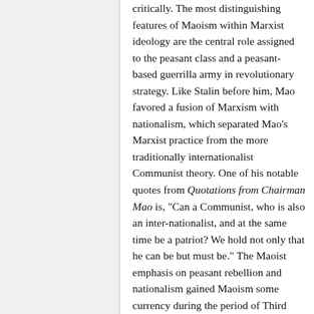critically. The most distinguishing features of Maoism within Marxist ideology are the central role assigned to the peasant class and a peasant-based guerrilla army in revolutionary strategy. Like Stalin before him, Mao favored a fusion of Marxism with nationalism, which separated Mao's Marxist practice from the more traditionally internationalist Communist theory. One of his notable quotes from Quotations from Chairman Mao is, "Can a Communist, who is also an inter-nationalist, and at the same time be a patriot? We hold not only that he can be but must be." The Maoist emphasis on peasant rebellion and nationalism gained Maoism some currency during the period of Third World anti-colonial rebellion that followed World War II. Shifting factional alignments in China's power structure